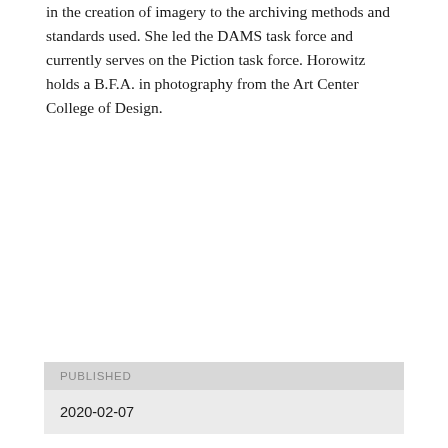in the creation of imagery to the archiving methods and standards used. She led the DAMS task force and currently serves on the Piction task force. Horowitz holds a B.F.A. in photography from the Art Center College of Design.
[Figure (other): Blue PDF download button with document icon and bold PDF label]
| PUBLISHED |
| --- |
| 2020-02-07 |
| ISSUE |
| --- |
| Vol. 43 No. 1 (2016) |